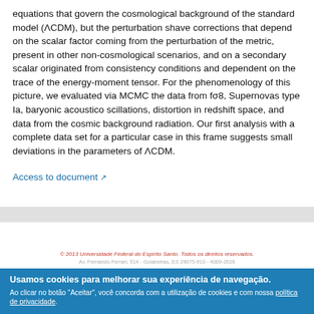equations that govern the cosmological background of the standard model (ΛCDM), but the perturbation shave corrections that depend on the scalar factor coming from the perturbation of the metric, present in other non-cosmological scenarios, and on a secondary scalar originated from consistency conditions and dependent on the trace of the energy-moment tensor. For the phenomenology of this picture, we evaluated via MCMC the data from fσ8, Supernovas type Ia, baryonic acoustico scillations, distortion in redshift space, and data from the cosmic background radiation. Our first analysis with a complete data set for a particular case in this frame suggests small deviations in the parameters of ΛCDM.
Access to document
© 2013 Universidade Federal do Espírito Santo. Todos os direitos reservados.
Av. Fernando Ferrari, 514 - Goiabeiras, ES 29075-910 - 4009-2626
Usamos cookies para melhorar sua experiência de navegação.
Ao clicar no botão "Aceitar", você concorda com a utilização de cookies e com nossa política de privacidade.